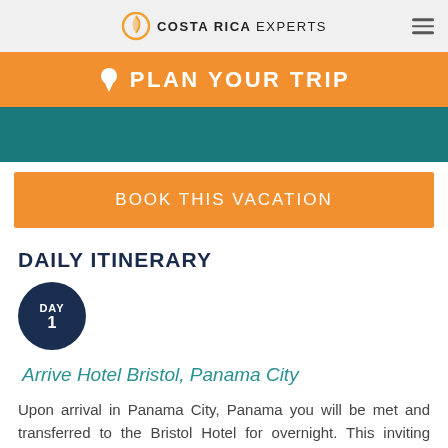COSTA RICA EXPERTS
PLAN YOUR TRIP
[Figure (other): Teal colored banner block]
BOOK THIS VACATION
DAILY ITINERARY
[Figure (other): Dark navy circle badge with text DAY 1]
Arrive Hotel Bristol, Panama City
Upon arrival in Panama City, Panama you will be met and transferred to the Bristol Hotel for overnight. This inviting boutique